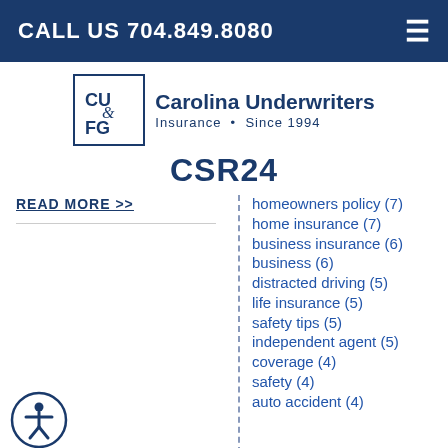CALL US 704.849.8080
[Figure (logo): Carolina Underwriters Insurance logo with CU&FG monogram in a box, text: Carolina Underwriters Insurance • Since 1994]
CSR24
READ MORE >>
homeowners policy (7)
home insurance (7)
business insurance (6)
business (6)
distracted driving (5)
life insurance (5)
safety tips (5)
independent agent (5)
coverage (4)
safety (4)
auto accident (4)